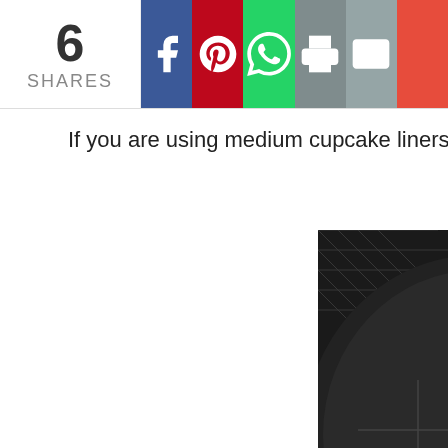6 SHARES | Social share buttons: Facebook, Pinterest, WhatsApp, Print, Email, More
If you are using medium cupcake liners, it will take s
[Figure (photo): Overhead view of chocolate cupcake batter in white paper liners placed inside a black air fryer basket on a wire rack]